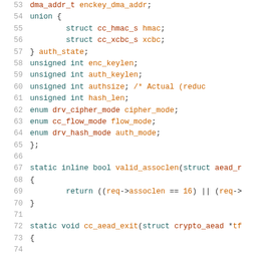[Figure (screenshot): Source code listing lines 53-73, C language code showing struct fields and function definitions for an AEAD crypto driver]